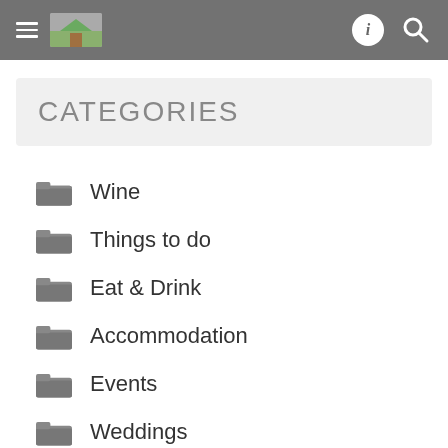Navigation header with hamburger menu, logo, info and search icons
CATEGORIES
Wine
Things to do
Eat & Drink
Accommodation
Events
Weddings